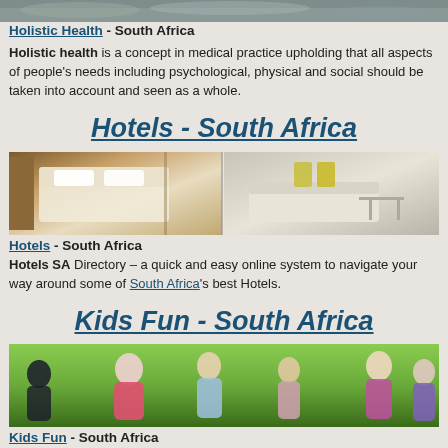[Figure (photo): Top partial image of rocks/stones, cropped at top of page]
Holistic Health - South Africa
Holistic health is a concept in medical practice upholding that all aspects of people's needs including psychological, physical and social should be taken into account and seen as a whole.
Hotels - South Africa
[Figure (photo): Hotel room interior with bed and sofa/lounge area]
Hotels - South Africa
Hotels SA Directory – a quick and easy online system to navigate your way around some of South Africa's best Hotels.
Kids Fun - South Africa
[Figure (photo): Children running and playing outdoors on grass]
Kids Fun - South Africa
This family travel guide is based on a unique travel guide concept: It is